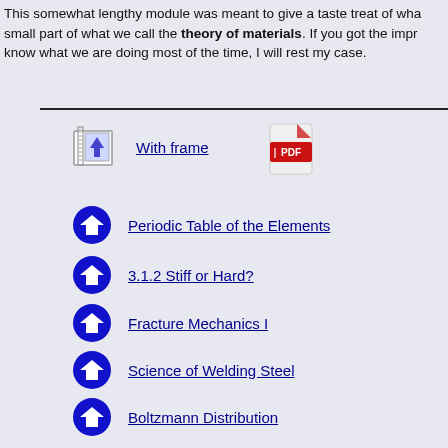This somewhat lengthy module was meant to give a taste treat of wha small part of what we call the theory of materials. If you got the impr know what we are doing most of the time, I will rest my case.
With frame
Periodic Table of the Elements
3.1.2 Stiff or Hard?
Fracture Mechanics I
Science of Welding Steel
Boltzmann Distribution
Alloying Elements in Detail
Dislocation Science - 1. The Basics
Science of Uniaxial Deformation